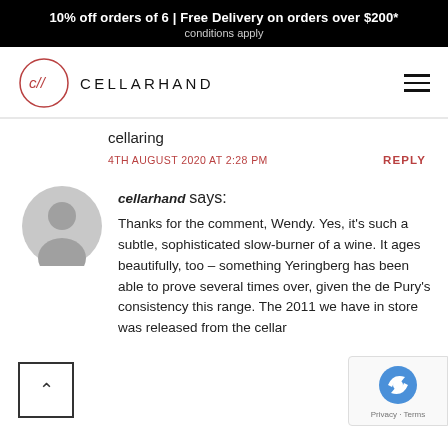10% off orders of 6 | Free Delivery on orders over $200* conditions apply
[Figure (logo): Cellarhand logo: circle with c// inside, text CELLARHAND]
cellaring
4TH AUGUST 2020 AT 2:28 PM
REPLY
[Figure (photo): Default user avatar - grey silhouette of person]
cellarhand says: Thanks for the comment, Wendy. Yes, it's such a subtle, sophisticated slow-burner of a wine. It ages beautifully, too – something Yeringberg has been able to prove several times over, given the de Pury's consistency this range. The 2011 we have in store was released from the cellar